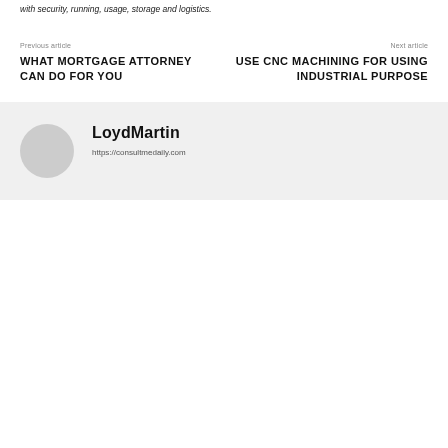with security, running, usage, storage and logistics.
Previous article
WHAT MORTGAGE ATTORNEY CAN DO FOR YOU
Next article
USE CNC MACHINING FOR USING INDUSTRIAL PURPOSE
LoydMartin
https://consultmedaily.com